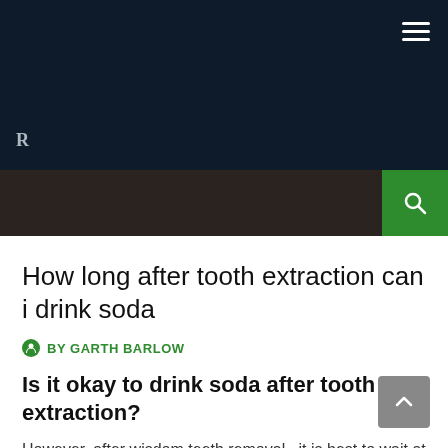Navigation bar with hamburger menu and search button
How long after tooth extraction can i drink soda
BY GARTH BARLOW
Is it okay to drink soda after tooth extraction?
However, after wisdom teeth removal , it is best to wait at least 24 to 48 hours before drinking any soda . The carbonation bubbles in soda can dislodge the blood clot